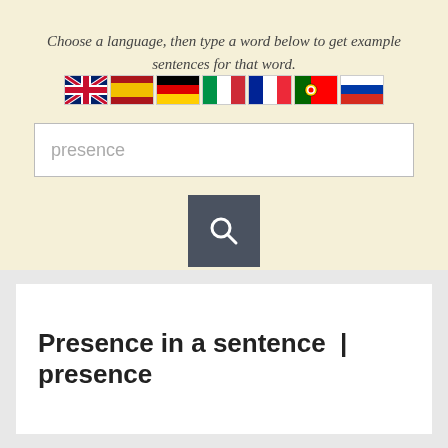Choose a language, then type a word below to get example sentences for that word.
[Figure (infographic): A row of seven country flag icons: UK, Spain, Germany, Italy, France, Portugal, Russia]
[Figure (screenshot): A text input field with placeholder text 'presence']
[Figure (screenshot): A dark grey square search button with a magnifying glass icon]
Presence in a sentence | presence